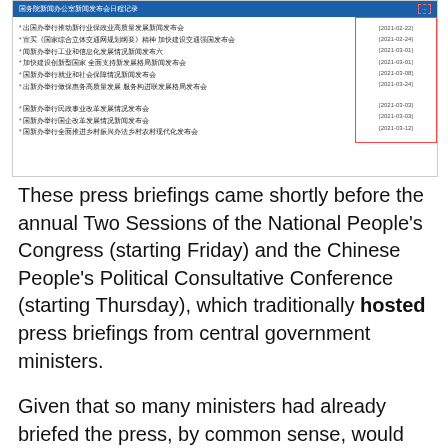[Figure (screenshot): Screenshot of a Chinese government press briefings list with dates in a table, highlighted with a red dashed border on the right date column. Header in blue reads the press office news conference schedule. Items list various ministry press conferences in Chinese with dates like 2021-02-22, 2021-02-24, 2021-03-01 etc.]
These press briefings came shortly before the annual Two Sessions of the National People’s Congress (starting Friday) and the Chinese People's Political Consultative Conference (starting Thursday), which traditionally hosted press briefings from central government ministers.
Given that so many ministers had already briefed the press, by common sense, would they do the same again in this year’s Two Sessions within such a short period of time?